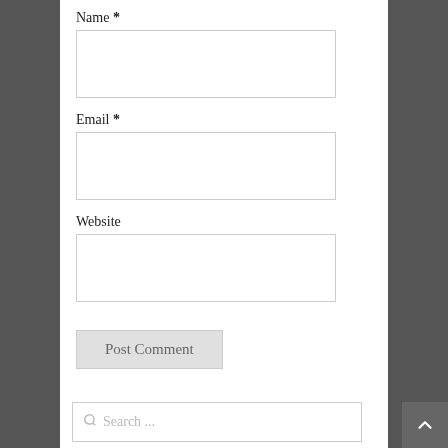Name *
[Figure (other): Name input field (empty text box)]
Email *
[Figure (other): Email input field (empty text box)]
Website
[Figure (other): Website input field (empty text box)]
Post Comment
This site uses Akismet to reduce spam. Learn how your comment data is processed.
[Figure (other): Social media icons row: Facebook, Twitter, Pinterest, YouTube, RSS, Instagram, Email]
Search ...